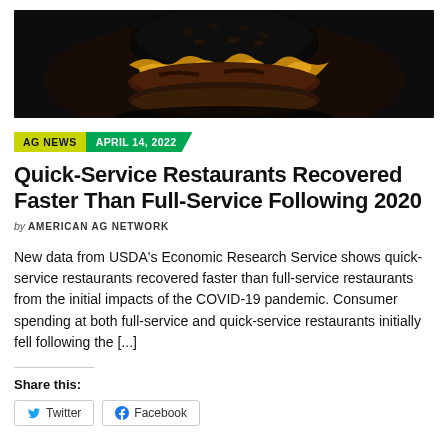[Figure (photo): Close-up photo of a gourmet burger with melted cheese and dark bun on a dark background]
AG NEWS  APRIL 14, 2022
Quick-Service Restaurants Recovered Faster Than Full-Service Following 2020
by AMERICAN AG NETWORK
New data from USDA's Economic Research Service shows quick-service restaurants recovered faster than full-service restaurants from the initial impacts of the COVID-19 pandemic. Consumer spending at both full-service and quick-service restaurants initially fell following the [...]
Share this:
Twitter  Facebook